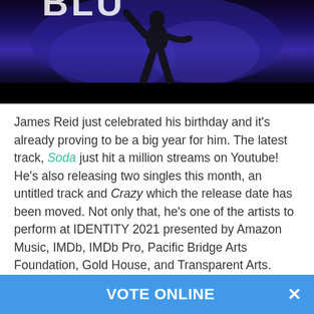[Figure (photo): Dark stage photo with blue and purple lighting showing a silhouette of a performer, with large text/logo partially visible at top]
James Reid just celebrated his birthday and it's already proving to be a big year for him. The latest track, Soda just hit a million streams on Youtube! He's also releasing two singles this month, an untitled track and Crazy which the release date has been moved. Not only that, he's one of the artists to perform at IDENTITY 2021 presented by Amazon Music, IMDb, IMDb Pro, Pacific Bridge Arts Foundation, Gold House, and Transparent Arts. Catch it on Saturday, May 15th at 5pm PST/ 8pm EST all on Twitch.tv/AmazonMusic.
VOTE ONLINE